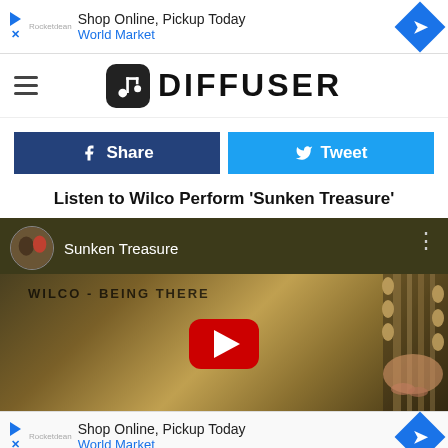[Figure (screenshot): Advertisement banner: Shop Online, Pickup Today - World Market]
[Figure (logo): Diffuser website header logo with hamburger menu and music note icon]
[Figure (screenshot): Facebook Share button (dark blue) and Twitter Tweet button (light blue)]
Listen to Wilco Perform 'Sunken Treasure'
[Figure (screenshot): YouTube video embed showing 'Sunken Treasure' by Wilco - Being There, with red play button and guitar neck visible]
[Figure (screenshot): Advertisement banner at bottom: Shop Online, Pickup Today - World Market]